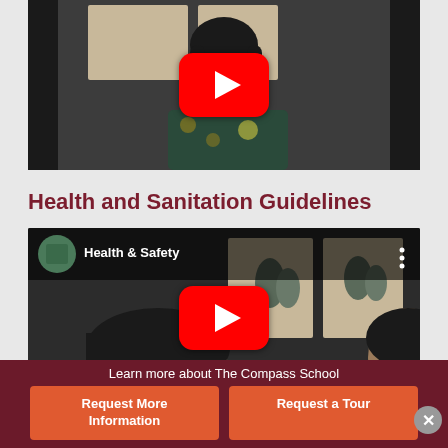[Figure (screenshot): YouTube video thumbnail showing a woman with dark hair in a floral top, with a YouTube play button overlay. Background is dark/dimmed.]
Health and Sanitation Guidelines
[Figure (screenshot): YouTube video thumbnail with header bar showing channel icon and 'Health & Safety' title, featuring a woman, with a YouTube play button overlay.]
Learn more about The Compass School
Request More Information
Request a Tour